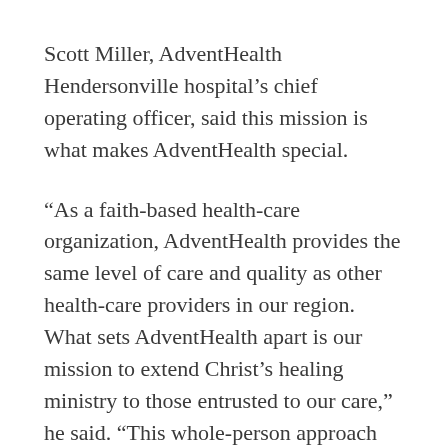Scott Miller, AdventHealth Hendersonville hospital's chief operating officer, said this mission is what makes AdventHealth special.
“As a faith-based health-care organization, AdventHealth provides the same level of care and quality as other health-care providers in our region. What sets AdventHealth apart is our mission to extend Christ’s healing ministry to those entrusted to our care,” he said. “This whole-person approach addresses not only the physical needs of each patient but also his emotional and spiritual needs.